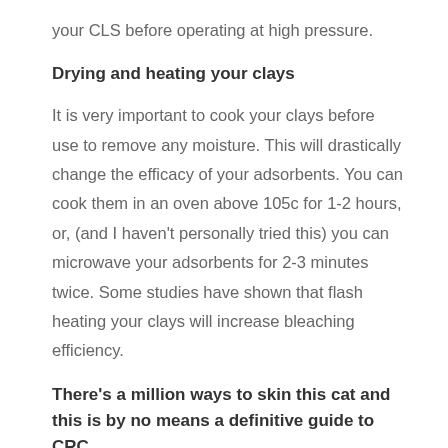your CLS before operating at high pressure.
Drying and heating your clays
It is very important to cook your clays before use to remove any moisture. This will drastically change the efficacy of your adsorbents. You can cook them in an oven above 105c for 1-2 hours, or, (and I haven't personally tried this) you can microwave your adsorbents for 2-3 minutes twice. Some studies have shown that flash heating your clays will increase bleaching efficiency.
There's a million ways to skin this cat and this is by no means a definitive guide to CRC